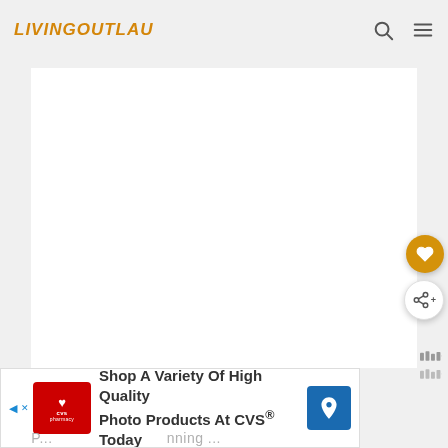LIVINGOUTLAU
[Figure (screenshot): Website screenshot of livingoutlau.com showing navigation header with logo, search icon, and hamburger menu. Main content area is a large white box (likely an image placeholder). Floating action buttons on the right side include a gold/amber heart button and a white share button. Two small Mediavine logo indicators appear below. An advertisement banner at the bottom shows a CVS Pharmacy ad: 'Shop A Variety Of High Quality Photo Products At CVS® Today' with CVS logo and a blue navigation arrow icon. Partially visible text at the very bottom appears to be a page headline.]